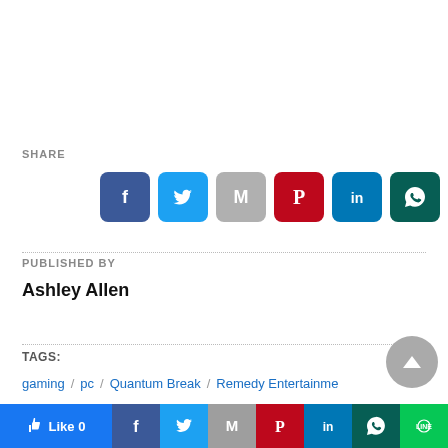SHARE
[Figure (infographic): Social share buttons: Facebook, Twitter, Gmail, Pinterest, LinkedIn, WhatsApp, Line]
PUBLISHED BY
Ashley Allen
TAGS:
gaming / pc / Quantum Break / Remedy Entertainment / Windows 10 / xbox one
[Figure (infographic): Bottom share/like bar with Like 0 button and social media icons: Facebook, Twitter, Gmail, Pinterest, LinkedIn, WhatsApp, Line]